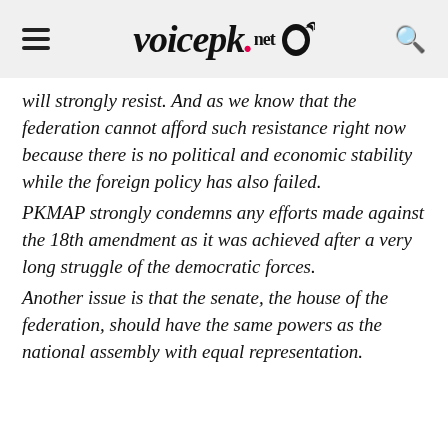voicepk.net
will strongly resist. And as we know that the federation cannot afford such resistance right now because there is no political and economic stability while the foreign policy has also failed.
PKMAP strongly condemns any efforts made against the 18th amendment as it was achieved after a very long struggle of the democratic forces.
Another issue is that the senate, the house of the federation, should have the same powers as the national assembly with equal representation.